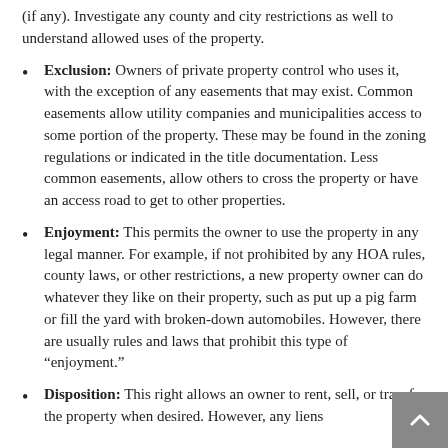(if any). Investigate any county and city restrictions as well to understand allowed uses of the property.
Exclusion: Owners of private property control who uses it, with the exception of any easements that may exist. Common easements allow utility companies and municipalities access to some portion of the property. These may be found in the zoning regulations or indicated in the title documentation. Less common easements, allow others to cross the property or have an access road to get to other properties.
Enjoyment: This permits the owner to use the property in any legal manner. For example, if not prohibited by any HOA rules, county laws, or other restrictions, a new property owner can do whatever they like on their property, such as put up a pig farm or fill the yard with broken-down automobiles. However, there are usually rules and laws that prohibit this type of “enjoyment.”
Disposition: This right allows an owner to rent, sell, or transfer the property when desired. However, any liens